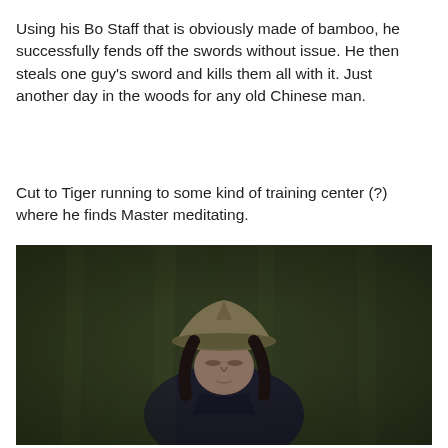Using his Bo Staff that is obviously made of bamboo, he successfully fends off the swords without issue. He then steals one guy’s sword and kills them all with it. Just another day in the woods for any old Chinese man.
Cut to Tiger running to some kind of training center (?) where he finds Master meditating.
[Figure (photo): A dark, moody still from a film showing a man in traditional Chinese attire with a wide-brimmed hat, eyes closed, appearing to meditate. The background is dark and blurred, with a greenish-brown tone.]